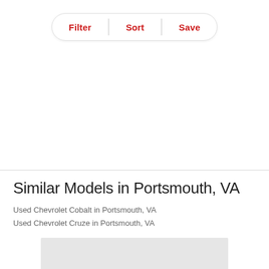[Figure (screenshot): Filter, Sort, Save toolbar with pill-shaped border and red text buttons]
Similar Models in Portsmouth, VA
Used Chevrolet Cobalt in Portsmouth, VA
Used Chevrolet Cruze in Portsmouth, VA